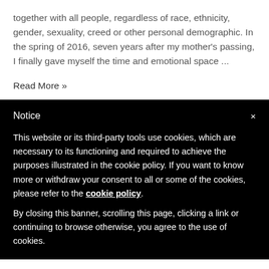together with all people, regardless of race, ethnicity, gender, sexuality, creed or other personal demographic. In the spring of 2016, seven years after my mother's passing, I finally gave myself the time and emotional space ...
Read More »
Notice
This website or its third-party tools use cookies, which are necessary to its functioning and required to achieve the purposes illustrated in the cookie policy. If you want to know more or withdraw your consent to all or some of the cookies, please refer to the cookie policy.
By closing this banner, scrolling this page, clicking a link or continuing to browse otherwise, you agree to the use of cookies.